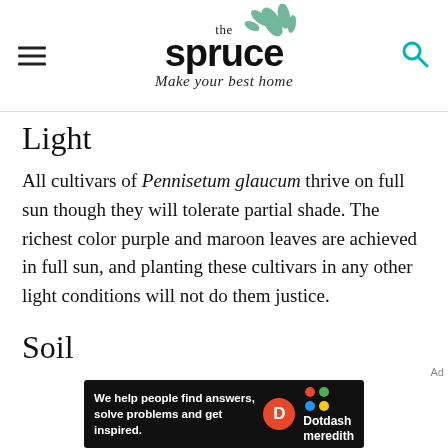the spruce — Make your best home
Light
All cultivars of Pennisetum glaucum thrive on full sun though they will tolerate partial shade. The richest color purple and maroon leaves are achieved in full sun, and planting these cultivars in any other light conditions will not do them justice.
Soil
[Figure (other): Dotdash Meredith advertisement banner: 'We help people find answers, solve problems and get inspired.' with Dotdash Meredith logo]